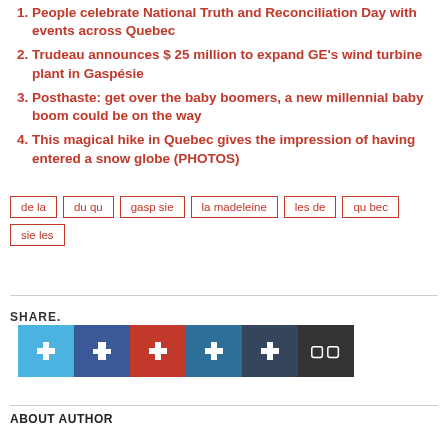People celebrate National Truth and Reconciliation Day with events across Quebec
Trudeau announces $ 25 million to expand GE's wind turbine plant in Gaspésie
Posthaste: get over the baby boomers, a new millennial baby boom could be on the way
This magical hike in Quebec gives the impression of having entered a snow globe (PHOTOS)
de la  du qu  gasp sie  la madeleine  les de  qu bec  sie les
SHARE.
ABOUT AUTHOR